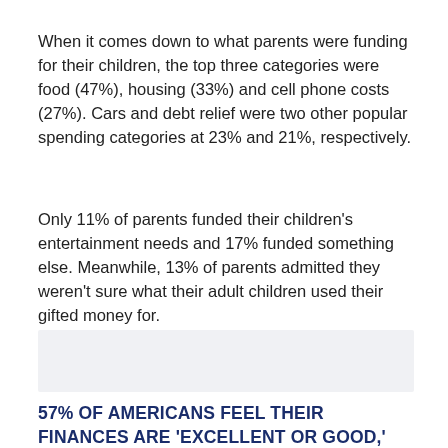When it comes down to what parents were funding for their children, the top three categories were food (47%), housing (33%) and cell phone costs (27%). Cars and debt relief were two other popular spending categories at 23% and 21%, respectively.
Only 11% of parents funded their children's entertainment needs and 17% funded something else. Meanwhile, 13% of parents admitted they weren't sure what their adult children used their gifted money for.
[Figure (other): Gray placeholder box for an image or chart]
57% OF AMERICANS FEEL THEIR FINANCES ARE 'EXCELLENT OR GOOD,' SURVEY SAYS